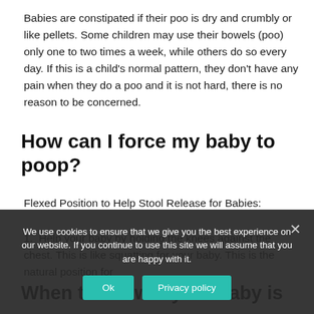Babies are constipated if their poo is dry and crumbly or like pellets. Some children may use their bowels (poo) only one to two times a week, while others do so every day. If this is a child's normal pattern, they don't have any pain when they do a poo and it is not hard, there is no reason to be concerned.
How can I force my baby to poop?
Flexed Position to Help Stool Release for Babies:
Help your baby by holding the knees against the chest. This is like squatting for your baby. This is the natural position for
When to know if your baby is
We use cookies to ensure that we give you the best experience on our website. If you continue to use this site we will assume that you are happy with it.